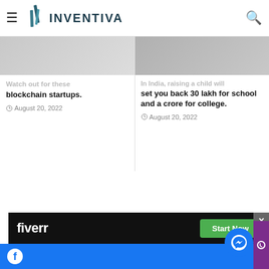INVENTIVA
Watch out for these blockchain startups.
August 20, 2022
In India, raising a child will set you back 30 lakh for school and a crore for college.
August 20, 2022
[Figure (screenshot): Fiverr advertisement banner with dark background, Fiverr logo in white, and a green 'Start Now' button]
Facebook and Messenger social bar